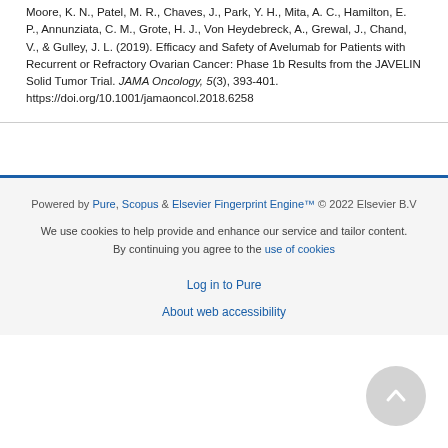Moore, K. N., Patel, M. R., Chaves, J., Park, Y. H., Mita, A. C., Hamilton, E. P., Annunziata, C. M., Grote, H. J., Von Heydebreck, A., Grewal, J., Chand, V., & Gulley, J. L. (2019). Efficacy and Safety of Avelumab for Patients with Recurrent or Refractory Ovarian Cancer: Phase 1b Results from the JAVELIN Solid Tumor Trial. JAMA Oncology, 5(3), 393-401. https://doi.org/10.1001/jamaoncol.2018.6258
Powered by Pure, Scopus & Elsevier Fingerprint Engine™ © 2022 Elsevier B.V
We use cookies to help provide and enhance our service and tailor content. By continuing you agree to the use of cookies
Log in to Pure
About web accessibility